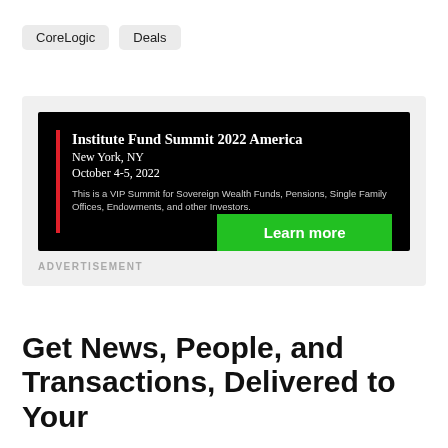CoreLogic
Deals
[Figure (infographic): Advertisement banner for Institute Fund Summit 2022 America, New York, NY, October 4-5, 2022. Black background with red vertical bar, white serif text for event details, green 'Learn more' button. Text: This is a VIP Summit for Sovereign Wealth Funds, Pensions, Single Family Offices, Endowments, and other Investors.]
ADVERTISEMENT
Get News, People, and Transactions, Delivered to Your